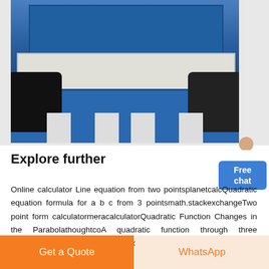[Figure (photo): Industrial blue heavy machinery (likely a crusher or press) in a factory setting, photographed from the front. The machine has a large blue body, white/grey support legs, dark rollers, and is set on a factory floor.]
Explore further
Online calculator Line equation from two pointsplanetcalcQuadratic equation formula for a b c from 3 pointsmath.stackexchangeTwo point form calculatormeracalculatorQuadratic Function Changes in the ParabolathoughtcoA quadratic function through three pointsfuturelearnRecommended to you based on what s popular Feedback
Get a Quote
WhatsApp